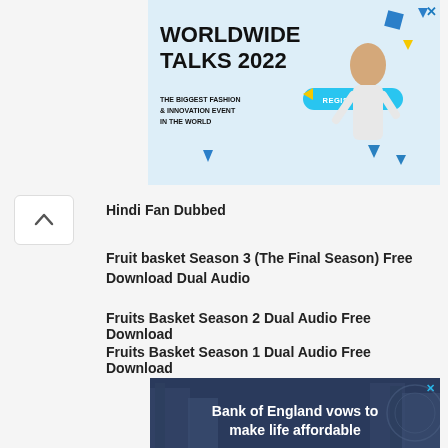[Figure (illustration): Worldwide Talks 2022 fashion event advertisement banner with blue background, person posing, geometric shapes, and Register Now button]
Hindi Fan Dubbed
Fruit basket Season 3 (The Final Season) Free Download Dual Audio
Fruits Basket Season 2 Dual Audio Free Download
Fruits Basket Season 1 Dual Audio Free Download
[Figure (illustration): Bank of England vows to make life affordable - advertisement with city buildings background]